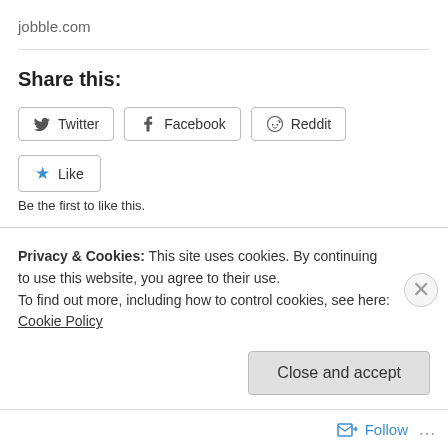jobble.com
Share this:
[Figure (other): Social share buttons: Twitter, Facebook, Reddit]
[Figure (other): Like button with star icon]
Be the first to like this.
Related
This Week in Ridiculous Regulations
Privacy & Cookies: This site uses cookies. By continuing to use this website, you agree to their use.
To find out more, including how to control cookies, see here: Cookie Policy
Close and accept